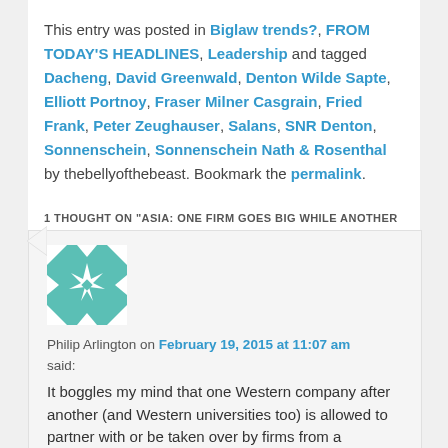This entry was posted in Biglaw trends?, FROM TODAY'S HEADLINES, Leadership and tagged Dacheng, David Greenwald, Denton Wilde Sapte, Elliott Portnoy, Fraser Milner Casgrain, Fried Frank, Peter Zeughauser, Salans, SNR Denton, Sonnenschein, Sonnenschein Nath & Rosenthal by thebellyofthebeast. Bookmark the permalink.
1 THOUGHT ON "ASIA: ONE FIRM GOES BIG WHILE ANOTHER GOES HOME"
[Figure (illustration): Decorative avatar image with teal and white geometric star/quilt pattern]
Philip Arlington on February 19, 2015 at 11:07 am
said:
It boggles my mind that one Western company after another (and Western universities too) is allowed to partner with or be taken over by firms from a totalitarian state which calls itself...